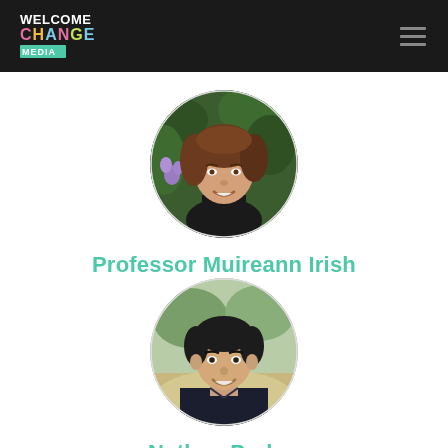Welcome Change Media
[Figure (photo): Circular portrait photo of Professor Muireann Irish, a woman with brown hair, smiling, with purple flowers and green foliage in the background.]
Professor Muireann Irish
[Figure (photo): Circular portrait photo of Nathan Parker, a young man with dark hair wearing a dark polo shirt, with trees in the background.]
Nathan Parker